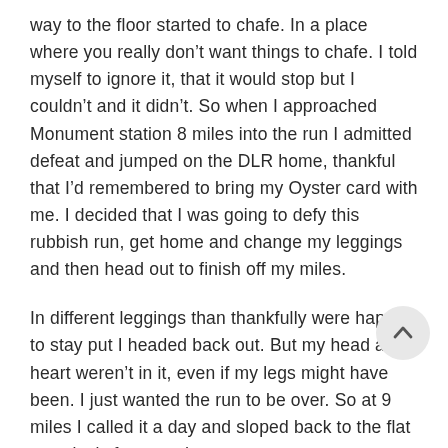way to the floor started to chafe. In a place where you really don't want things to chafe. I told myself to ignore it, that it would stop but I couldn't and it didn't. So when I approached Monument station 8 miles into the run I admitted defeat and jumped on the DLR home, thankful that I'd remembered to bring my Oyster card with me. I decided that I was going to defy this rubbish run, get home and change my leggings and then head out to finish off my miles.
In different leggings than thankfully were happy to stay put I headed back out. But my head and heart weren't in it, even if my legs might have been. I just wanted the run to be over. So at 9 miles I called it a day and sloped back to the flat massively frustrated.
Showered, stretched and fed and I was able to put things into perspective. I'd managed 9 miles, despite